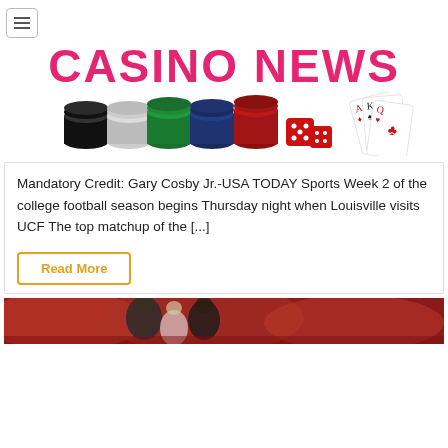[Figure (logo): Casino News logo with colorful poker chips, dice, and playing cards. Bold pink/red rounded text reading CASINO NEWS with white outline stroke.]
Mandatory Credit: Gary Cosby Jr.-USA TODAY Sports Week 2 of the college football season begins Thursday night when Louisville visits UCF The top matchup of the [...]
Read More
[Figure (photo): Bottom portion of a photo showing basketball players in red uniforms, partial view cropped at bottom of page.]